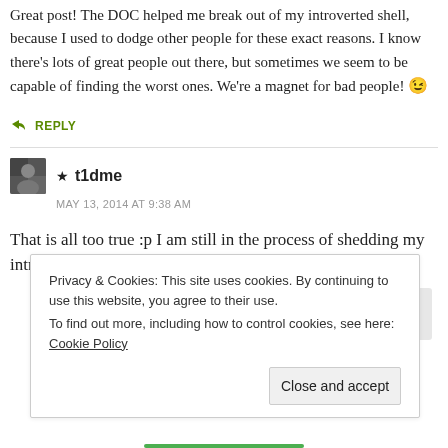Great post! The DOC helped me break out of my introverted shell, because I used to dodge other people for these exact reasons. I know there's lots of great people out there, but sometimes we seem to be capable of finding the worst ones. We're a magnet for bad people! 😉
↪ REPLY
★ t1dme
MAY 13, 2014 AT 9:38 AM
That is all too true :p I am still in the process of shedding my introverted shell. Can you tell me how long that it takes? 😢
Privacy & Cookies: This site uses cookies. By continuing to use this website, you agree to their use.
To find out more, including how to control cookies, see here: Cookie Policy
Close and accept